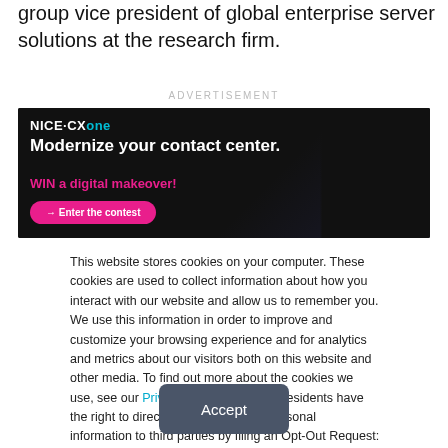group vice president of global enterprise server solutions at the research firm.
ADVERTISEMENT
[Figure (illustration): NICE CXone advertisement banner with text 'Modernize your contact center. WIN a digital makeover!' and 'Enter the contest' button, showing a person with headphones on dark background with purple squares.]
This website stores cookies on your computer. These cookies are used to collect information about how you interact with our website and allow us to remember you. We use this information in order to improve and customize your browsing experience and for analytics and metrics about our visitors both on this website and other media. To find out more about the cookies we use, see our Privacy Policy. California residents have the right to direct us not to sell their personal information to third parties by filing an Opt-Out Request: Do Not Sell My Personal Info.
Accept